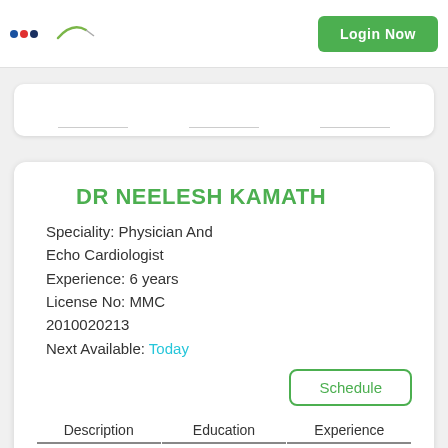Login Now
DR NEELESH KAMATH
Speciality: Physician And Echo Cardiologist
Experience: 6 years
License No: MMC 2010020213
Next Available: Today
Description	Education	Experience